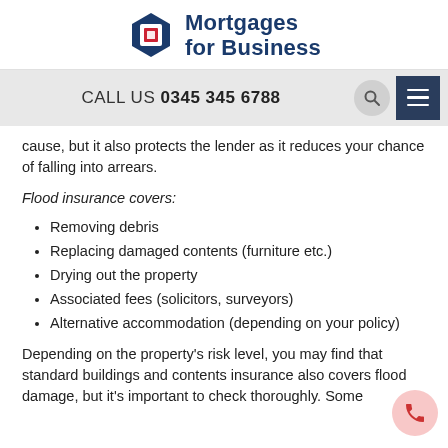[Figure (logo): Mortgages for Business logo — blue hexagon with red square icon and company name in navy blue]
CALL US 03453456788
cause, but it also protects the lender as it reduces your chance of falling into arrears.
Flood insurance covers:
Removing debris
Replacing damaged contents (furniture etc.)
Drying out the property
Associated fees (solicitors, surveyors)
Alternative accommodation (depending on your policy)
Depending on the property's risk level, you may find that standard buildings and contents insurance also covers flood damage, but it's important to check thoroughly. Some